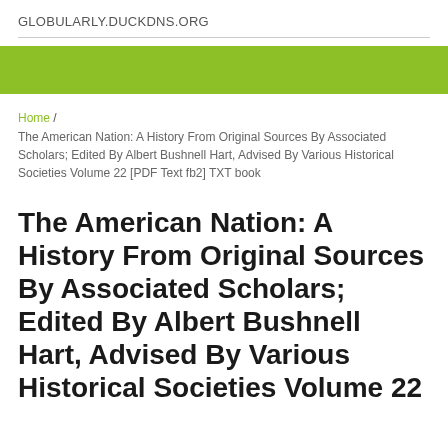GLOBULARLY.DUCKDNS.ORG
[Figure (other): Green banner/header bar]
Home / The American Nation: A History From Original Sources By Associated Scholars; Edited By Albert Bushnell Hart, Advised By Various Historical Societies Volume 22 [PDF Text fb2] TXT book
The American Nation: A History From Original Sources By Associated Scholars; Edited By Albert Bushnell Hart, Advised By Various Historical Societies Volume 22